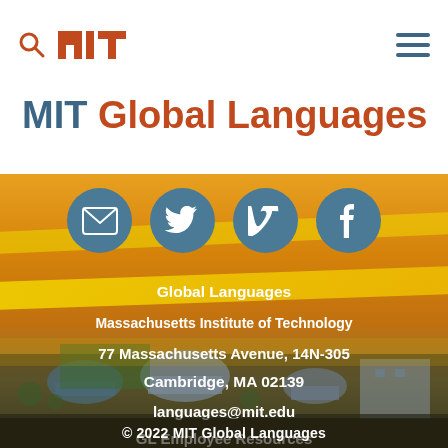MIT Global Languages - MIT search and navigation header
MIT Global Languages
[Figure (screenshot): MIT Global Languages website page showing social media icons (email, Twitter, Vimeo, Facebook) over an aerial photograph of the MIT campus in Cambridge MA, with contact information and footer links overlaid on the photo.]
Global Languages
Massachusetts Institute of Technology
77 Massachusetts Avenue, 14N-305
Cambridge, MA 02139
languages@mit.edu
GL Employee Resources
Accessibility
© 2022 MIT Global Languages